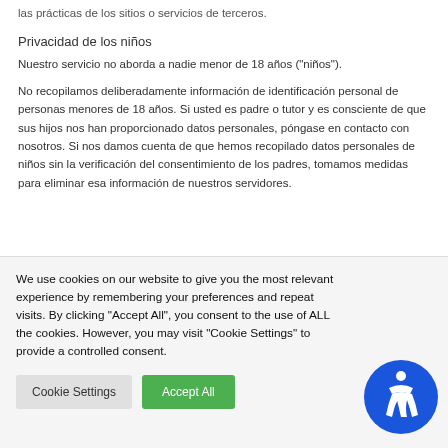las prácticas de los sitios o servicios de terceros.
Privacidad de los niños
Nuestro servicio no aborda a nadie menor de 18 años ("niños").
No recopilamos deliberadamente información de identificación personal de personas menores de 18 años. Si usted es padre o tutor y es consciente de que sus hijos nos han proporcionado datos personales, póngase en contacto con nosotros. Si nos damos cuenta de que hemos recopilado datos personales de niños sin la verificación del consentimiento de los padres, tomamos medidas para eliminar esa información de nuestros servidores.
We use cookies on our website to give you the most relevant experience by remembering your preferences and repeat visits. By clicking "Accept All", you consent to the use of ALL the cookies. However, you may visit "Cookie Settings" to provide a controlled consent.
Cookie Settings | Accept All